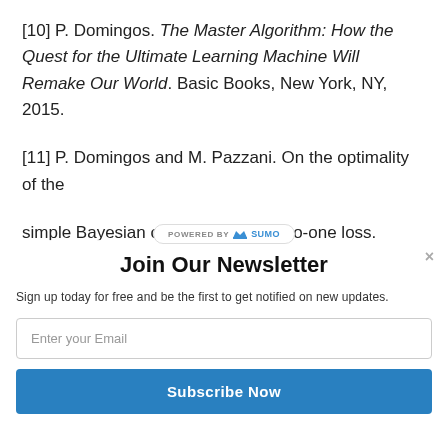[10] P. Domingos. The Master Algorithm: How the Quest for the Ultimate Learning Machine Will Remake Our World. Basic Books, New York, NY, 2015.
[11] P. Domingos and M. Pazzani. On the optimality of the simple Bayesian classifier under zero-one loss. Machine
[Figure (screenshot): Sumo 'Powered By' badge — white pill-shaped banner with crown icon and text 'POWERED BY SUMO']
[Figure (screenshot): Newsletter signup modal overlay with title 'Join Our Newsletter', description text, email input field, and Subscribe Now button]